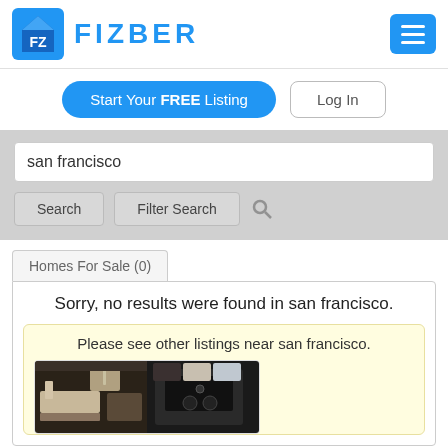[Figure (logo): Fizber logo: FZ icon in blue square and FIZBER text in blue]
Start Your FREE Listing
Log In
san francisco
Search
Filter Search
Homes For Sale (0)
Sorry, no results were found in san francisco.
Please see other listings near san francisco.
[Figure (photo): Photo of a bathroom/room interior, split view showing vanity and dark cabinet/speaker]